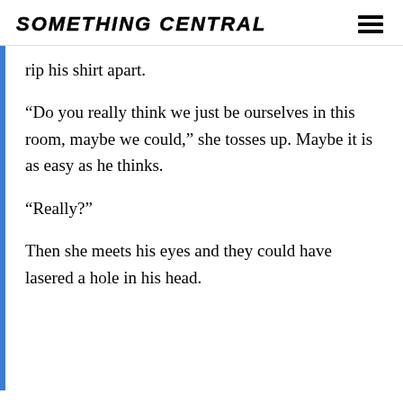SOMETHING CENTRAL
rip his shirt apart.
“Do you really think we just be ourselves in this room, maybe we could,” she tosses up. Maybe it is as easy as he thinks.
“Really?”
Then she meets his eyes and they could have lasered a hole in his head.